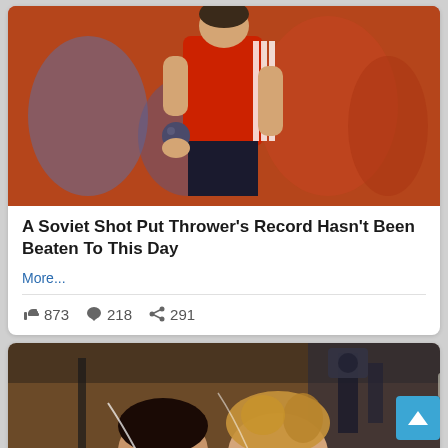[Figure (photo): A Soviet athlete in a red Adidas t-shirt holding a shot put ball during a competition, with blurred crowd in background]
A Soviet Shot Put Thrower's Record Hasn't Been Beaten To This Day
More...
👍 873   💬 218   ➦ 291
[Figure (photo): Two young women posing together in a cluttered indoor setting, one kissing the other on the cheek, with recording/camera equipment visible in background]